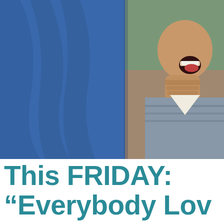[Figure (photo): Two people, one in a blue shirt seen from behind on the left, and another person on the right biting their fist with mouth open, appearing shocked or exasperated]
This FRIDAY: “Everybody Loves Raymond” Cast Reunites for a V